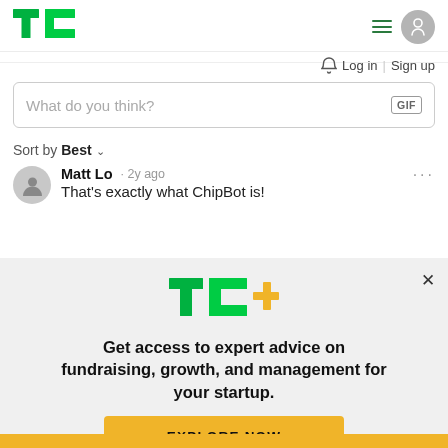TechCrunch logo, hamburger menu, avatar
Log in | Sign up
What do you think?
Sort by Best
Matt Lo · 2y ago
That's exactly what ChipBot is!
[Figure (logo): TC+ logo with green TC and orange plus sign]
Get access to expert advice on fundraising, growth, and management for your startup.
EXPLORE NOW